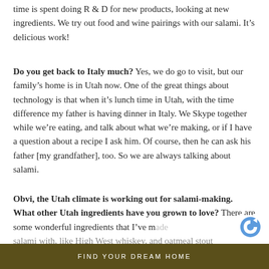time is spent doing R & D for new products, looking at new ingredients. We try out food and wine pairings with our salami. It's delicious work!
Do you get back to Italy much? Yes, we do go to visit, but our family's home is in Utah now. One of the great things about technology is that when it's lunch time in Utah, with the time difference my father is having dinner in Italy. We Skype together while we're eating, and talk about what we're making, or if I have a question about a recipe I ask him. Of course, then he can ask his father [my grandfather], too. So we are always talking about salami.
Obvi, the Utah climate is working out for salami-making. What other Utah ingredients have you grown to love? There are some wonderful ingredients that I've made salami with, like High West whiskey, and oatmeal stout...
FIND YOUR DREAM HOME